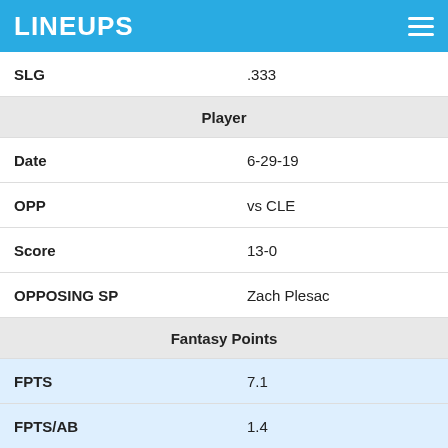LINEUPS
| Stat | Value |
| --- | --- |
| SLG | .333 |
| Player |  |
| Date | 6-29-19 |
| OPP | vs CLE |
| Score | 13-0 |
| OPPOSING SP | Zach Plesac |
| Fantasy Points |  |
| FPTS | 7.1 |
| FPTS/AB | 1.4 |
| Offense |  |
| PA | 5 |
| H | 1 |